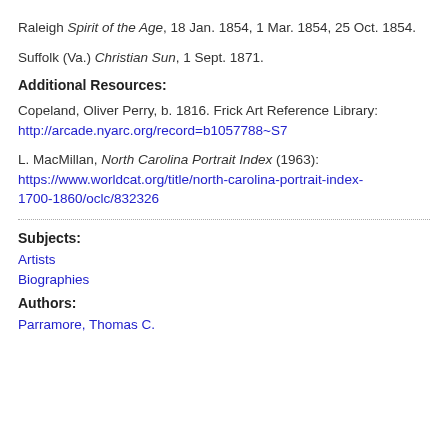Raleigh Spirit of the Age, 18 Jan. 1854, 1 Mar. 1854, 25 Oct. 1854.
Suffolk (Va.) Christian Sun, 1 Sept. 1871.
Additional Resources:
Copeland, Oliver Perry, b. 1816. Frick Art Reference Library: http://arcade.nyarc.org/record=b1057788~S7
L. MacMillan, North Carolina Portrait Index (1963): https://www.worldcat.org/title/north-carolina-portrait-index-1700-1860/oclc/832326
Subjects:
Artists
Biographies
Authors:
Parramore, Thomas C.